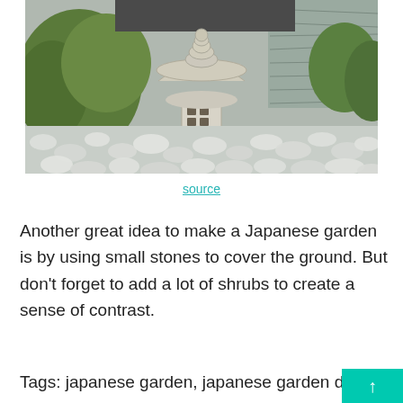[Figure (photo): A Japanese garden featuring a stone lantern sculpture surrounded by rounded white/grey river stones covering the ground. Green shrubs are visible on the left, and a modern stone wall with a plant is in the background.]
source
Another great idea to make a Japanese garden is by using small stones to cover the ground. But don't forget to add a lot of shrubs to create a sense of contrast.
Tags: japanese garden, japanese garden de…